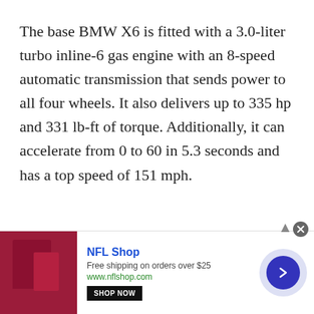The base BMW X6 is fitted with a 3.0-liter turbo inline-6 gas engine with an 8-speed automatic transmission that sends power to all four wheels. It also delivers up to 335 hp and 331 lb-ft of torque. Additionally, it can accelerate from 0 to 60 in 5.3 seconds and has a top speed of 151 mph.
[Figure (infographic): Advertisement banner for NFL Shop showing crimson jersey product image, 'NFL Shop' title in blue, 'Free shipping on orders over $25', 'www.nflshop.com', a SHOP NOW button, and a blue circular arrow button on the right. Close button (X) in top-right corner.]